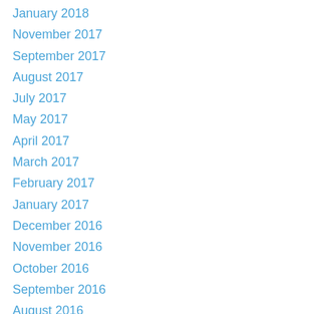January 2018
November 2017
September 2017
August 2017
July 2017
May 2017
April 2017
March 2017
February 2017
January 2017
December 2016
November 2016
October 2016
September 2016
August 2016
July 2016
June 2016
May 2016
April 2016
March 2016